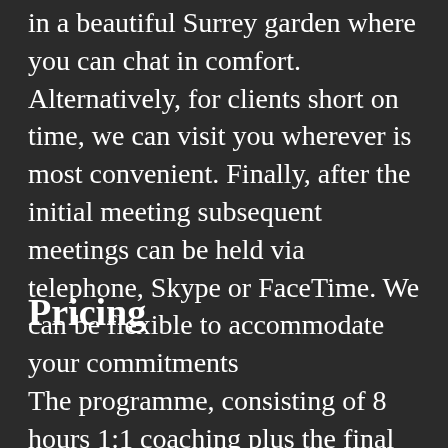in a beautiful Surrey garden where you can chat in comfort. Alternatively, for clients short on time, we can visit you wherever is most convenient. Finally, after the initial meeting subsequent meetings can be held via telephone, Skype or FaceTime. We can be flexible to accommodate your commitments
Pricing
The programme, consisting of 8 hours 1:1 coaching plus the final